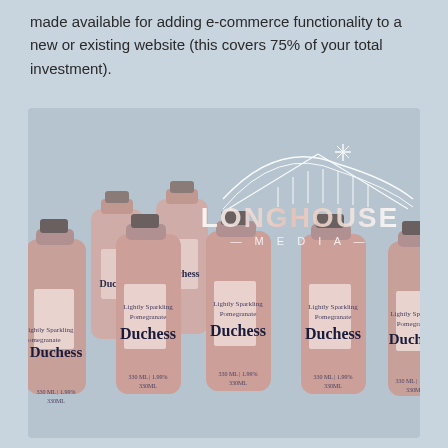made available for adding e-commerce functionality to a new or existing website (this covers 75% of your total investment).
[Figure (photo): Photo of multiple pink Duchess brand drink bottles arranged in a group, with a Longhouse Media logo watermark overlaid on top. The bottles are pink/rose colored glass with dark caps and 'Duchess' written in dark serif text. Background is light blue-grey.]